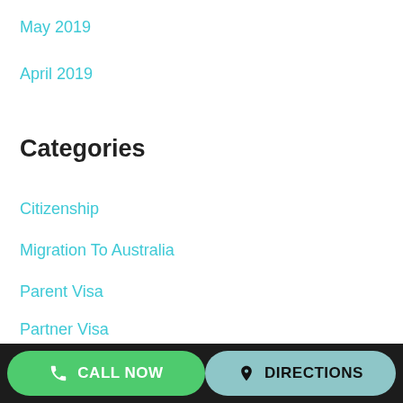May 2019
April 2019
Categories
Citizenship
Migration To Australia
Parent Visa
Partner Visa
Protection Visa
Skilled Visa
Student Visa
Uncategorized
CALL NOW   DIRECTIONS